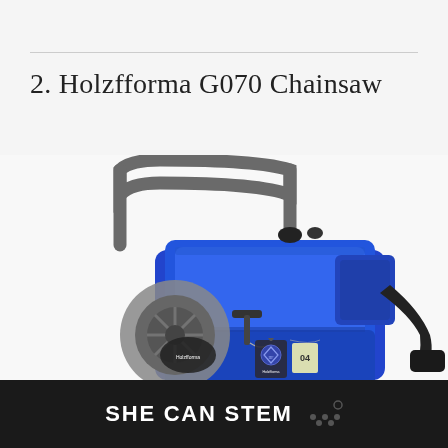2. Holzfforma G070 Chainsaw
[Figure (photo): Close-up photo of a blue Holzfforma G070 chainsaw engine body, showing the blue plastic housing, gray curved carry handle, starter pull handle, chain sprocket cover, and brand logo tags. White background product photo.]
SHE CAN STEM